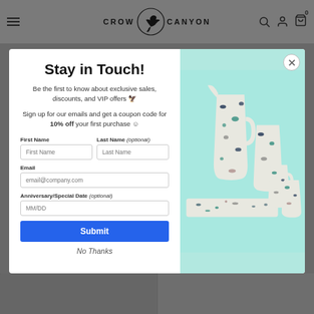CROW CANYON
Stay in Touch!
Be the first to know about exclusive sales, discounts, and VIP offers 🦅
Sign up for our emails and get a coupon code for 10% off your first purchase 😊
First Name | Last Name (optional) | Email | Anniversary/Special Date (optional)
Submit
No Thanks
[Figure (photo): Splatter-pattern enamelware collection including a tall pitcher, cups, and a tray on a teal/mint background]